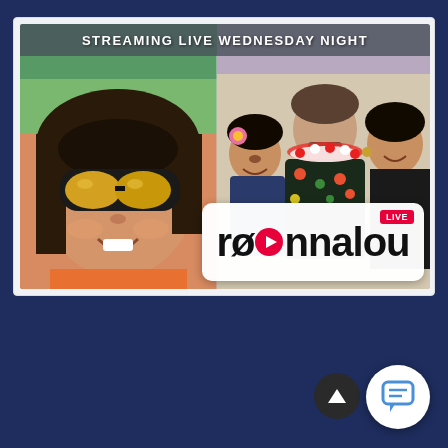[Figure (photo): A promotional image for 'ronnalou LIVE' streaming show. Left side shows a selfie of a young woman wearing yellow-tinted sunglasses outdoors. Right side shows a group photo of three people: a middle-aged man wearing a floral shirt and lei, flanked by two young women. A banner at the top reads 'STREAMING LIVE WEDNESDAY NIGHT'. The ronnalou LIVE logo appears at the bottom right of the image.]
[Figure (screenshot): Dark navy blue background section at the bottom of the page. Contains a dark circular back-to-top button (arrow up icon) and a white circular chat/messaging button with a blue speech bubble icon.]